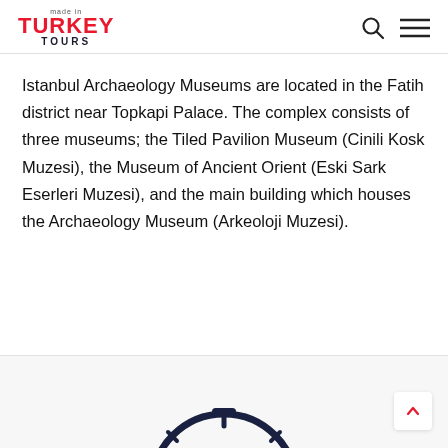made in TURKEY TOURS
Istanbul Archaeology Museums are located in the Fatih district near Topkapi Palace. The complex consists of three museums; the Tiled Pavilion Museum (Cinili Kosk Muzesi), the Museum of Ancient Orient (Eski Sark Eserleri Muzesi), and the main building which houses the Archaeology Museum (Arkeoloji Muzesi).
[Figure (illustration): Partial view of a clock/timer icon with dashes, rendered in dark navy outline style, cut off at the bottom of the page.]